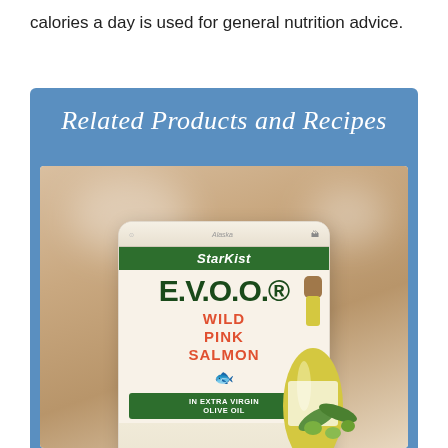calories a day is used for general nutrition advice.
Related Products and Recipes
[Figure (photo): StarKist E.V.O.O. Wild Pink Salmon in Extra Virgin Olive Oil product package pouch, shown with an olive oil bottle and olives, on a light countertop background.]